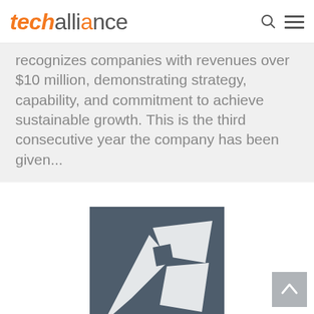techalliance
recognizes companies with revenues over $10 million, demonstrating strategy, capability, and commitment to achieve sustainable growth. This is the third consecutive year the company has been given...
[Figure (logo): Abstract logo on dark slate-blue background — two crossed diagonal shapes forming a bowtie or butterfly wing silhouette in white/light grey, on a dark grey-blue square background.]
[Figure (other): Scroll-to-top button: grey square with white upward chevron arrow]